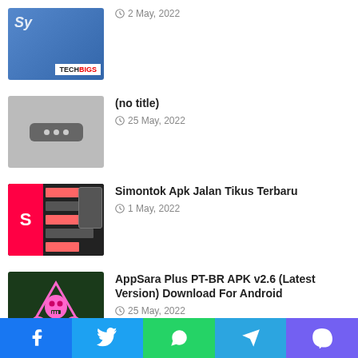[Figure (screenshot): TechBigs logo thumbnail with blue gradient background]
2 May, 2022
[Figure (screenshot): No title placeholder thumbnail with gray background and dots]
(no title)
25 May, 2022
[Figure (screenshot): Simontok App screenshot thumbnail]
Simontok Apk Jalan Tikus Terbaru
1 May, 2022
[Figure (illustration): AppSara Plus skull logo on dark green background]
AppSara Plus PT-BR APK v2.6 (Latest Version) Download For Android
25 May, 2022
Recent Tech News